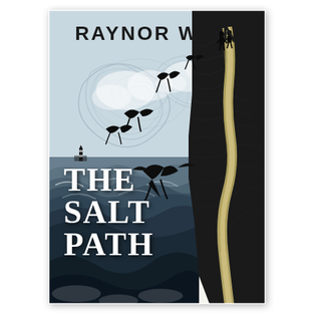[Figure (illustration): Book cover of 'The Salt Path' by Raynor Winn. A woodcut-style illustration showing dramatic coastal scenery: swirling sky with swooping swallows, a large black bird of prey (rook/crow) in flight, rolling sea waves with a lighthouse in the distance, and a sheer cliff face on the right side with a narrow winding path and two silhouetted figures standing at the top. Palette is black, white, and pale blue-grey with golden-tan cliff tones.]
RAYNOR WINN
THE SALT PATH